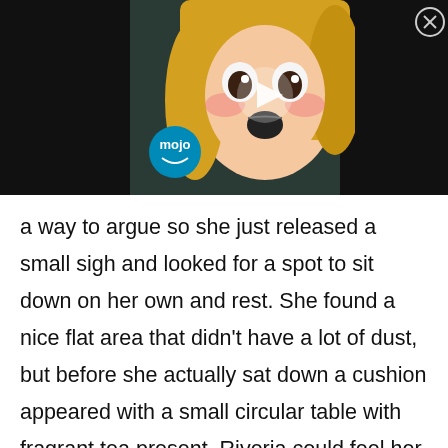[Figure (screenshot): Anime-style illustration of a blonde girl with wide eyes and blushing cheeks, overlaid with a video play button and WatchMojo 'mojo' logo, on dark background]
a way to argue so she just released a small sigh and looked for a spot to sit down on her own and rest. She found a nice flat area that didn't have a lot of dust, but before she actually sat down a cushion appeared with a small circular table with fragrant tea present. Riveria could feel her brows twitch slightly as she looked over to see Vahn's complacent smile before sitting down on the cushion he had left for her. After taking a sip of the warm tea, she released another sigh